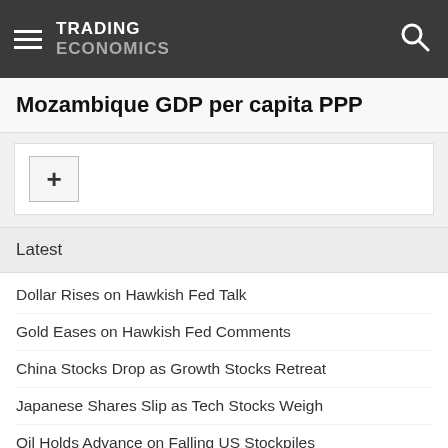TRADING ECONOMICS
Mozambique GDP per capita PPP
[Figure (other): Plus button widget control]
Latest
Dollar Rises on Hawkish Fed Talk
Gold Eases on Hawkish Fed Comments
China Stocks Drop as Growth Stocks Retreat
Japanese Shares Slip as Tech Stocks Weigh
Oil Holds Advance on Falling US Stockpiles
US Futures Flat as Fed Outlook Mulled
South Korea Business Morale Unchanged from 21-Month Low
US Natural Gas Drops 4%